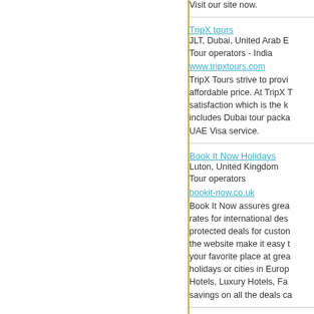Visit our site now.
TripX tours
JLT, Dubai, United Arab E...
Tour operators - India
www.tripxtours.com
TripX Tours strive to provi... affordable price. At TripX ... satisfaction which is the k... includes Dubai tour packa... UAE Visa service.
Book It Now Holidays
Luton, United Kingdom
Tour operators
bookit-now.co.uk
Book It Now assures grea... rates for international des... protected deals for custo... the website make it easy ... your favorite place at grea... holidays or cities in Euro... Hotels, Luxury Hotels, Fa... savings on all the deals ca...
Augustine Tours